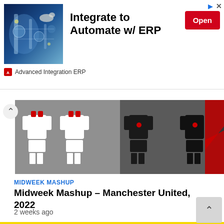[Figure (screenshot): Advertisement banner: photo of industrial machinery on left, text 'Integrate to Automate w/ ERP' in center, red 'Open' button on right, brand 'Advanced Integration ERP' at bottom]
[Figure (illustration): Horizontal strip showing football kit figurines on grey background - white kits on left, dark/black kits on right]
MIDWEEK MASHUP
Midweek Mashup – Manchester United, 2022
2 weeks ago
[Figure (illustration): Four football kits displayed on yellow and red striped background, each with red and yellow vertical stripe design, numbers 22, 4, 16, 10 on shorts]